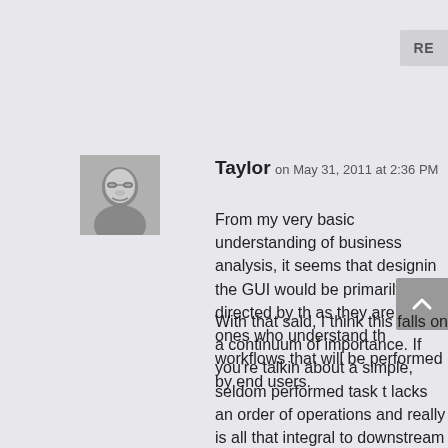RE
[Figure (photo): Black and white headshot photo of a person wearing glasses]
Taylor on May 31, 2011 at 2:36 PM
From my very basic understanding of business analysis, it seems that designing the GUI would be primarily directed by the as they are the ones who understand the workflows that will be performed by end users.
With that said, I think this falls on a continuum of importance. If you're talking about a simple, seldom performed task that lacks an order of operations and really is all that integral to downstream activities